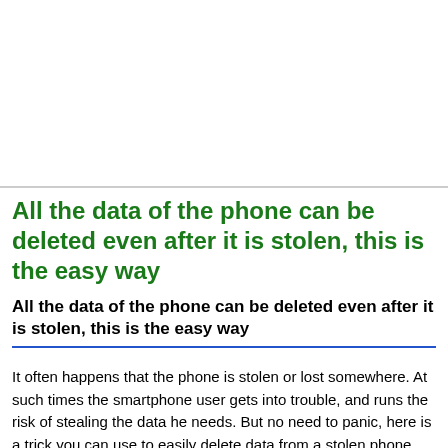[Figure (photo): Image placeholder area at the top of the article page]
All the data of the phone can be deleted even after it is stolen, this is the easy way
All the data of the phone can be deleted even after it is stolen, this is the easy way
It often happens that the phone is stolen or lost somewhere. At such times the smartphone user gets into trouble, and runs the risk of stealing the data he needs. But no need to panic, here is a trick you can use to easily delete data from a stolen phone.